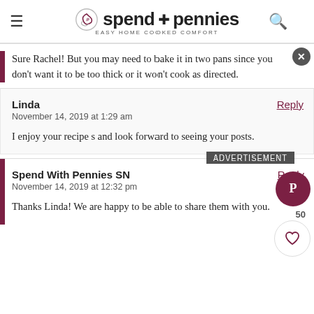spend with pennies — EASY HOME COOKED COMFORT
Sure Rachel! But you may need to bake it in two pans since you don't want it to be too thick or it won't cook as directed.
Linda
November 14, 2019 at 1:29 am
Reply
I enjoy your recipe s and look forward to seeing your posts.
Spend With Pennies SN
November 14, 2019 at 12:32 pm
Reply
Thanks Linda! We are happy to be able to share them with you.